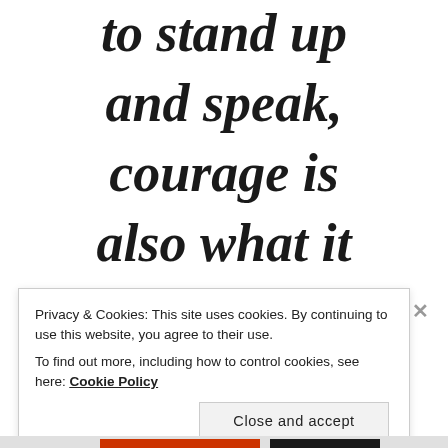to stand up and speak, courage is also what it
Privacy & Cookies: This site uses cookies. By continuing to use this website, you agree to their use. To find out more, including how to control cookies, see here: Cookie Policy
Close and accept